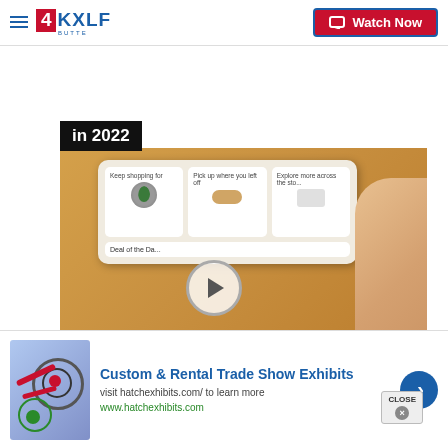4KXLF Butte | Watch Now
in 2022
[Figure (screenshot): Screenshot of Amazon shopping app on a smartphone held in hand, showing product cards (plant, sunglasses, shoes), Deal of the Day, Alexa integration, with a video play button overlay]
[Figure (screenshot): Advertisement banner: dart board image, Custom & Rental Trade Show Exhibits, visit hatchexhibits.com/ to learn more, www.hatchexhibits.com, blue arrow button]